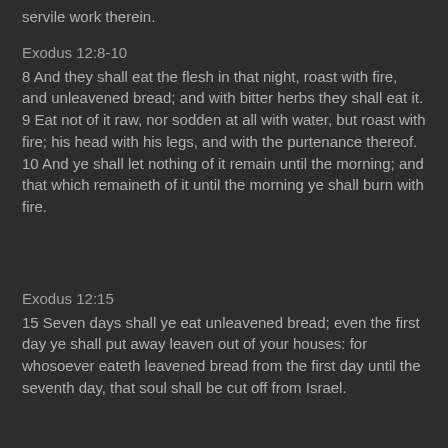servile work therein.
Exodus 12:8-10
8 And they shall eat the flesh in that night, roast with fire, and unleavened bread; and with bitter herbs they shall eat it. 9 Eat not of it raw, nor sodden at all with water, but roast with fire; his head with his legs, and with the purtenance thereof. 10 And ye shall let nothing of it remain until the morning; and that which remaineth of it until the morning ye shall burn with fire.
Exodus 12:15
15 Seven days shall ye eat unleavened bread; even the first day ye shall put away leaven out of your houses: for whosoever eateth leavened bread from the first day until the seventh day, that soul shall be cut off from Israel.
Exodus 12:46
46 In one house shall it be eaten; thou shalt not carry forth any of